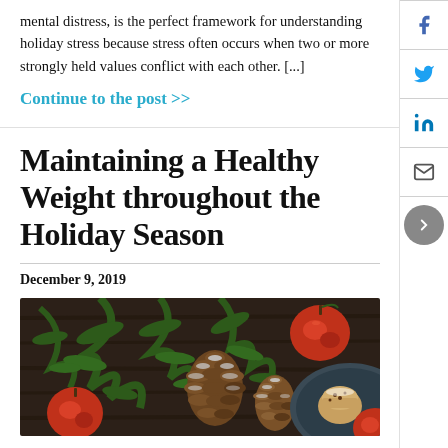mental distress, is the perfect framework for understanding holiday stress because stress often occurs when two or more strongly held values conflict with each other. [...]
Continue to the post >>
Maintaining a Healthy Weight throughout the Holiday Season
December 9, 2019
[Figure (photo): Holiday flat lay photo with pine branches, red apples, frosted pine cones, and a plate with food on a dark wooden background]